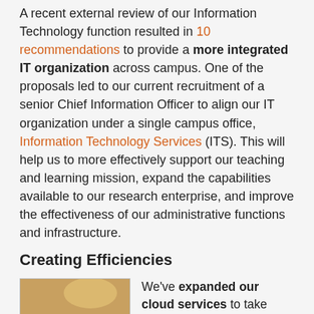A recent external review of our Information Technology function resulted in 10 recommendations to provide a more integrated IT organization across campus. One of the proposals led to our current recruitment of a senior Chief Information Officer to align our IT organization under a single campus office, Information Technology Services (ITS). This will help us to more effectively support our teaching and learning mission, expand the capabilities available to our research enterprise, and improve the effectiveness of our administrative functions and infrastructure.
Creating Efficiencies
[Figure (photo): People working at computers in what appears to be a computer lab or office setting, with warm lighting.]
We've expanded our cloud services to take advantage of their scalability and increase cost efficiency. Cloud services allow us to leverage server infrastructure provided by vendors instead of hosting applications in a